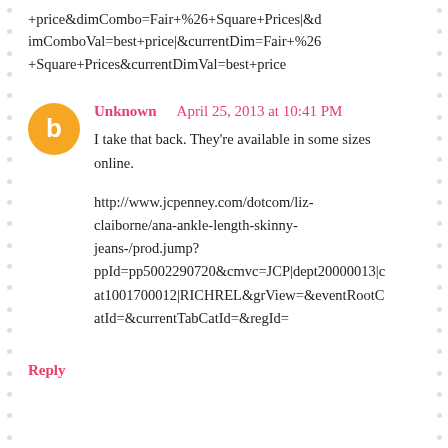+price&dimCombo=Fair+%26+Square+Prices|&dimComboVal=best+price|&currentDim=Fair+%26+Square+Prices&currentDimVal=best+price
Unknown    April 25, 2013 at 10:41 PM
I take that back. They're available in some sizes online.
http://www.jcpenney.com/dotcom/liz-claiborne/ana-ankle-length-skinny-jeans-/prod.jump?ppId=pp5002290720&cmvc=JCP|dept20000013|cat1001700012|RICHREL&grView=&eventRootCatId=&currentTabCatId=&regId=
Reply